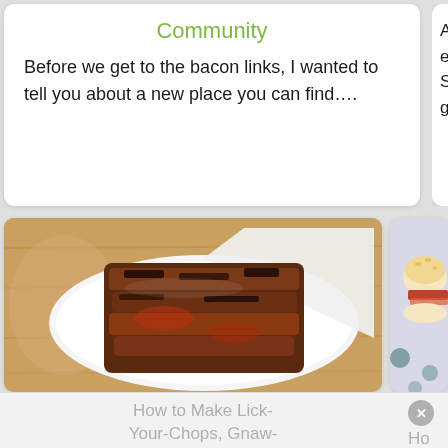Community
Before we get to the bacon links, I wanted to tell you about a new place you can find....
A while excited Steel C grocery
[Figure (photo): Grilled/smoked ribs on a white plate with a napkin, on a wooden surface]
[Figure (photo): Partially visible food item (burger/sandwich) on a polka-dot surface]
How to Make Lick-Your-Chops, Gnaw-
Ho